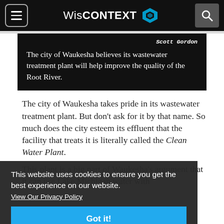WisCONTEXT
[Figure (screenshot): Dark pull-quote box with author credit 'Scott Gordon' and quote text about Waukesha's wastewater treatment plant and Root River.]
The city of Waukesha takes pride in its wastewater treatment plant. But don't ask for it by that name. So much does the city esteem its effluent that the facility that treats it is literally called the Clean Water Plant.
This website uses cookies to ensure you get the best experience on our website.
View Our Privacy Policy
Got it!
This plant is a big part of Waukesha's argument that it can use Lake Michigan water with